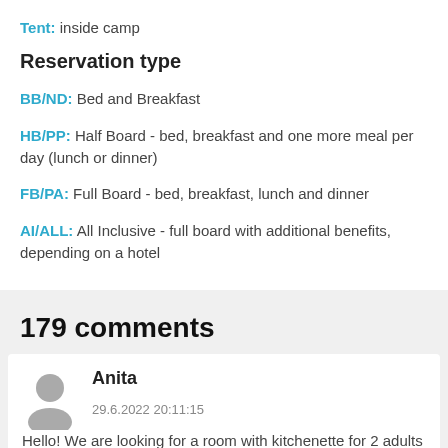Tent: inside camp
Reservation type
BB/ND: Bed and Breakfast
HB/PP: Half Board - bed, breakfast and one more meal per day (lunch or dinner)
FB/PA: Full Board - bed, breakfast, lunch and dinner
AI/ALL: All Inclusive - full board with additional benefits, depending on a hotel
179 comments
Anita
29.6.2022 20:11:15
Hello! We are looking for a room with kitchenette for 2 adults for 7 (up to 9) nights in period 09.08.2022-17.08.2022. D...